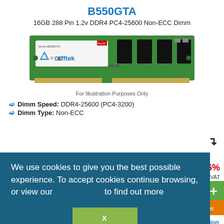B550GTA
16GB 288 Pin 1.2v DDR4 PC4-25600 Non-ECC Dimm
[Figure (photo): Green DDR4 RAM stick with Offtek branding and compliance logos on a white label, gold contacts at bottom]
For Illustration Purposes Only
Dimm Speed: DDR4-25600 (PC4-3200)
Dimm Type: Non-ECC
We use cookies to give you the best possible experience. To accept cookies continue browsing, or view our [cookie policy] to find out more
x
E 6%
Inc. VAT
ilable
More Information